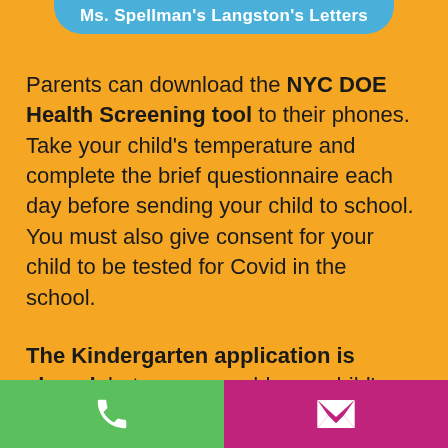Ms. Spellman's Langston's Letters
Parents can download the NYC DOE Health Screening tool to their phones. Take your child's temperature and complete the brief questionnaire each day before sending your child to school. You must also give consent for your child to be tested for Covid in the school.
The Kindergarten application is closed, but you may add your child's name to the DOE schools' Kindergarten waitlists. If you have any questions or require support applying for Kindergarten, our Parent Coordinator Ms. Tanisha...